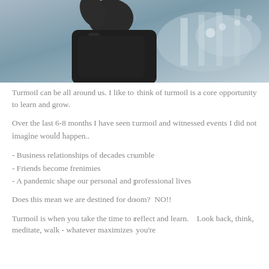[Figure (photo): A person lifting weights or exercising, photographed from behind/side, with a gym or pool setting visible in the background.]
Turmoil can be all around us.  I like to think of turmoil is a core opportunity to learn and grow.
Over the last 6-8 months I have seen turmoil and witnessed events I did not imagine would happen..
- Business relationships of decades crumble
- Friends become frenimies
- A pandemic shape our personal and professional lives
Does this mean we are destined for doom?  NO!!
Turmoil is when you take the time to reflect and learn.   Look back, think, meditate, walk - whatever maximizes you're